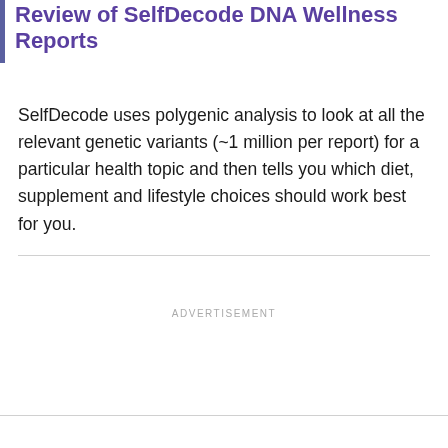Review of SelfDecode DNA Wellness Reports
SelfDecode uses polygenic analysis to look at all the relevant genetic variants (~1 million per report) for a particular health topic and then tells you which diet, supplement and lifestyle choices should work best for you.
ADVERTISEMENT